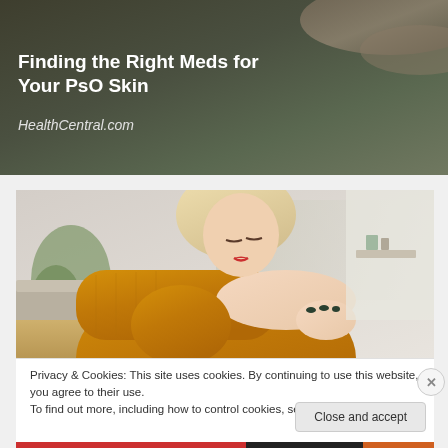[Figure (photo): Banner with dark olive/grey gradient background showing partial view of a hand, with white bold title text 'Finding the Right Meds for Your PsO Skin' and italic subtitle 'HealthCentral.com']
Finding the Right Meds for Your PsO Skin
HealthCentral.com
[Figure (photo): Photo of a blonde woman in a yellow knit sweater looking at her elbow/arm, examining her skin, sitting on a couch in a bright room with plants in background]
Privacy & Cookies: This site uses cookies. By continuing to use this website, you agree to their use.
To find out more, including how to control cookies, see here: Cookie Policy
Close and accept